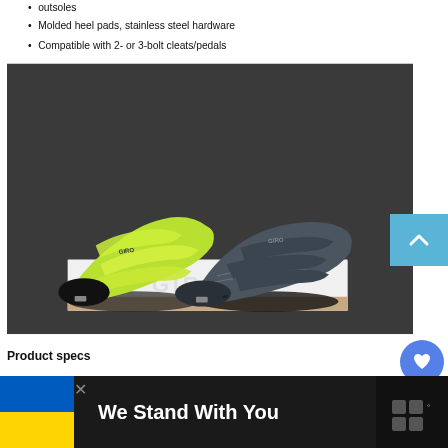outsoles
Molded heel pads, stainless steel hardware
Compatible with 2- or 3-bolt cleats/pedals
[Figure (photo): Two Giro cycling shoes (one yellow-green, one dark gray/charcoal) placed on a white Giro shoebox on a dark surface]
Product specs
[Figure (infographic): Advertisement bar with Ukrainian flag colors and text 'We Stand With You' on dark background]